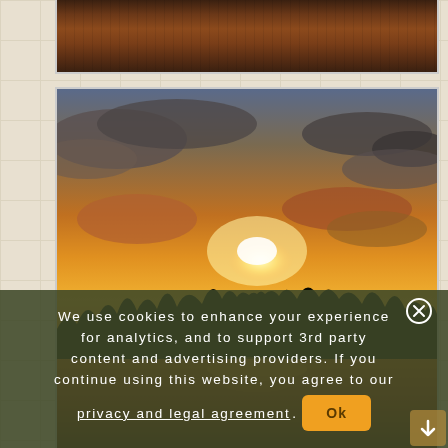[Figure (photo): Partial view of water/sunset photo at the top, cropped]
[Figure (photo): Sunset over a lake with silhouetted treeline and reflections, dramatic orange and golden sky with clouds]
We use cookies to enhance your experience for analytics, and to support 3rd party content and advertising providers. If you continue using this website, you agree to our privacy and legal agreement. Ok